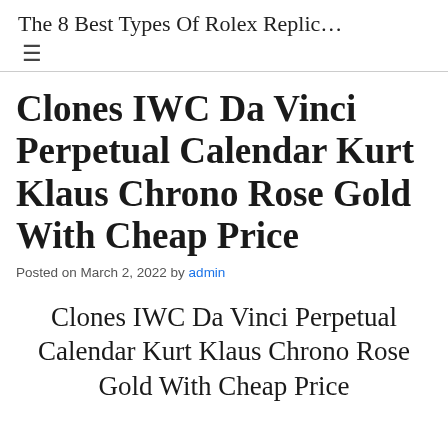The 8 Best Types Of Rolex Replic...
Clones IWC Da Vinci Perpetual Calendar Kurt Klaus Chrono Rose Gold With Cheap Price
Posted on March 2, 2022 by admin
Clones IWC Da Vinci Perpetual Calendar Kurt Klaus Chrono Rose Gold With Cheap Price